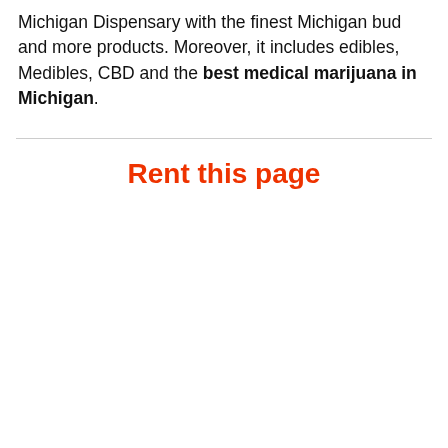Michigan Dispensary with the finest Michigan bud and more products. Moreover, it includes edibles, Medibles, CBD and the best medical marijuana in Michigan.
Rent this page